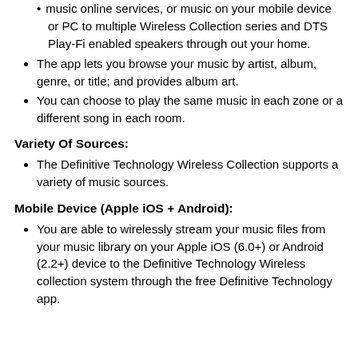music online services, or music on your mobile device or PC to multiple Wireless Collection series and DTS Play-Fi enabled speakers through out your home.
The app lets you browse your music by artist, album, genre, or title; and provides album art.
You can choose to play the same music in each zone or a different song in each room.
Variety Of Sources:
The Definitive Technology Wireless Collection supports a variety of music sources.
Mobile Device (Apple iOS + Android):
You are able to wirelessly stream your music files from your music library on your Apple iOS (6.0+) or Android (2.2+) device to the Definitive Technology Wireless collection system through the free Definitive Technology app.